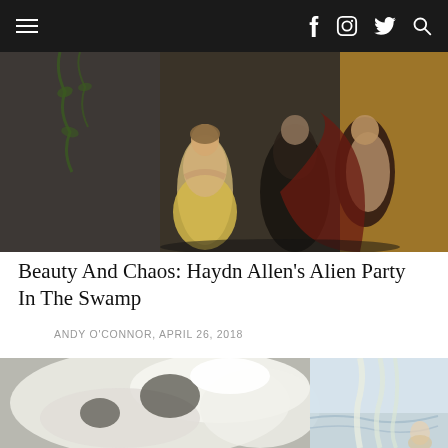Navigation bar with hamburger menu and social icons (Facebook, Instagram, Twitter, Search)
[Figure (photo): Theater scene with a woman in a yellow dress standing center stage with arms crossed, and two men behind her, one shirtless in a dramatic pose, set against a dark backdrop with ivy]
Beauty And Chaos: Haydn Allen’s Alien Party In The Swamp
ANDY O’CONNOR, APRIL 26, 2018
[Figure (photo): Close-up abstract image of white sculptural or organic forms, blurred and dreamlike, with a winter landscape visible in the background on the right side]